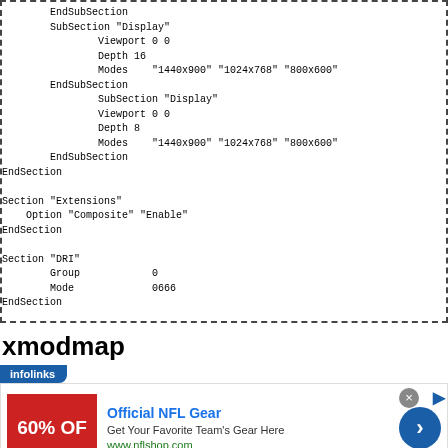EndSubSection
        SubSection "Display"
                Viewport 0 0
                Depth 16
                Modes    "1440x900" "1024x768" "800x600"
        EndSubSection
                SubSection "Display"
                Viewport 0 0
                Depth 8
                Modes    "1440x900" "1024x768" "800x600"
        EndSubSection
EndSection

Section "Extensions"
    Option "Composite" "Enable"
EndSection

Section "DRI"
        Group            0
        Mode             0666
EndSection
xmodmap
[Figure (screenshot): Infolinks advertisement banner showing Official NFL Gear with 60% OFF promotional image, blue arrow button, and www.nflshop.com URL]